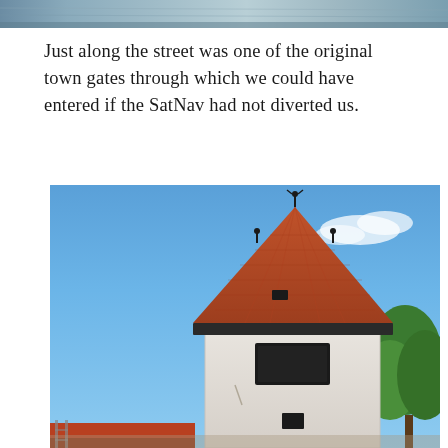[Figure (photo): Partial top of a photograph visible at the top of the page — a cropped image, brownish/muted tones]
Just along the street was one of the original town gates through which we could have entered if the SatNav had not diverted us.
[Figure (photo): Photograph of a historic stone tower with a steep terracotta-tiled pyramidal roof, white-plastered walls, small windows, and birds (storks) on ornamental finials at the roof peaks. Blue sky background with a green tree to the right. Part of a red-roofed building visible at lower left.]